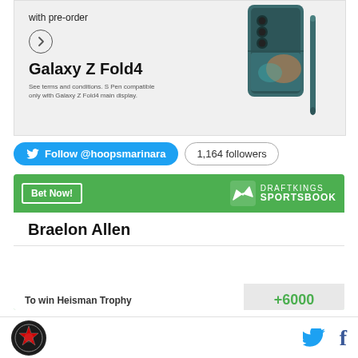[Figure (photo): Samsung Galaxy Z Fold4 advertisement banner showing the phone with S Pen, with text 'with pre-order', a circle arrow button, 'Galaxy Z Fold4' bold title, and terms text.]
Follow @hoopsmarinara
1,164 followers
[Figure (screenshot): DraftKings Sportsbook widget with green header showing 'Bet Now!' button and DraftKings logo, white content area showing player name 'Braelon Allen', and odds row 'To win Heisman Trophy +6000']
[Figure (logo): Site logo circular badge in footer, with Twitter bird icon and Facebook f icon on the right]